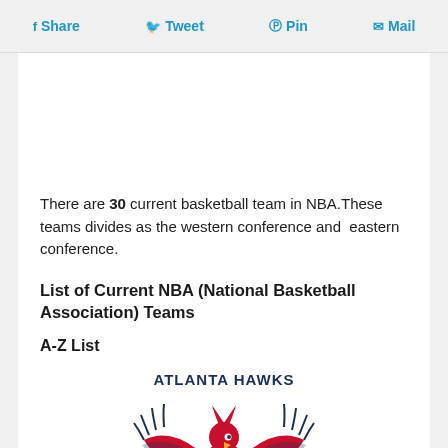Share  Tweet  Pin  Mail
There are 30 current basketball team in NBA.These teams divides as the western conference and  eastern conference.
List of Current NBA (National Basketball Association) Teams
A-Z List
[Figure (logo): Atlanta Hawks NBA team logo — red hawk with wings spread, holding a basketball, with ATLANTA HAWKS text in navy blue above]
Team: Atlanta Hawks